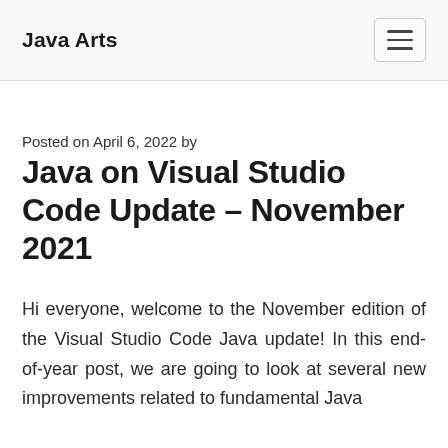Java Arts
Posted on April 6, 2022 by
Java on Visual Studio Code Update – November 2021
Hi everyone, welcome to the November edition of the Visual Studio Code Java update! In this end-of-year post, we are going to look at several new improvements related to fundamental Java